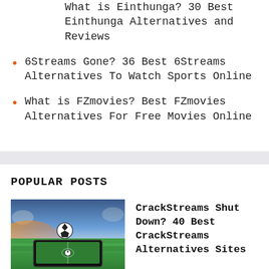What is Einthunga? 30 Best Einthunga Alternatives and Reviews
6Streams Gone? 36 Best 6Streams Alternatives To Watch Sports Online
What is FZmovies? Best FZmovies Alternatives For Free Movies Online
POPULAR POSTS
[Figure (photo): A soccer ball on a stadium field with a tablet device in the foreground showing a soccer field]
CrackStreams Shut Down? 40 Best CrackStreams Alternatives Sites
20 Best Sites Like MovieTube to Watch Movies Online Free